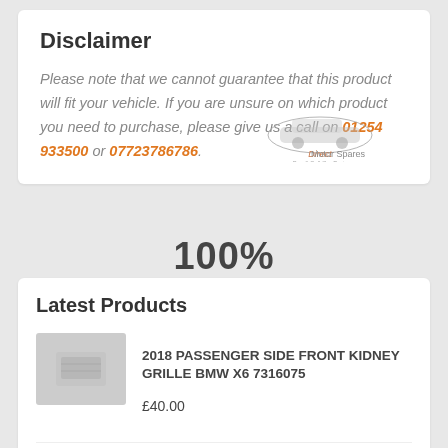Disclaimer
Please note that we cannot guarantee that this product will fit your vehicle. If you are unsure on which product you need to purchase, please give us a call on 01254 933500 or 07723786786.
[Figure (logo): Direct Motor Spares logo with car illustration]
100%
Latest Products
2018 PASSENGER SIDE FRONT KIDNEY GRILLE BMW X6 7316075
£40.00
2013-2015 DRIVERS SIDE OUTER REAR LIGHT TOYOTA AVENSIS MK3 44906